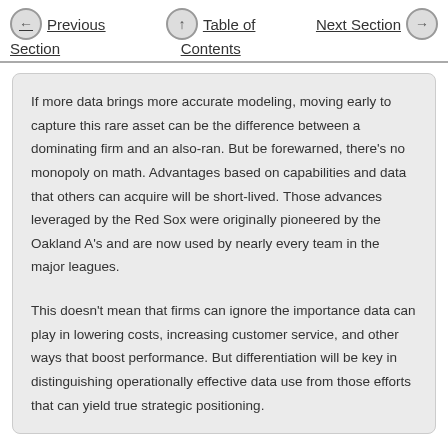Previous Section   Table of Contents   Next Section
If more data brings more accurate modeling, moving early to capture this rare asset can be the difference between a dominating firm and an also-ran. But be forewarned, there’s no monopoly on math. Advantages based on capabilities and data that others can acquire will be short-lived. Those advances leveraged by the Red Sox were originally pioneered by the Oakland A’s and are now used by nearly every team in the major leagues.
This doesn’t mean that firms can ignore the importance data can play in lowering costs, increasing customer service, and other ways that boost performance. But differentiation will be key in distinguishing operationally effective data use from those efforts that can yield true strategic positioning.